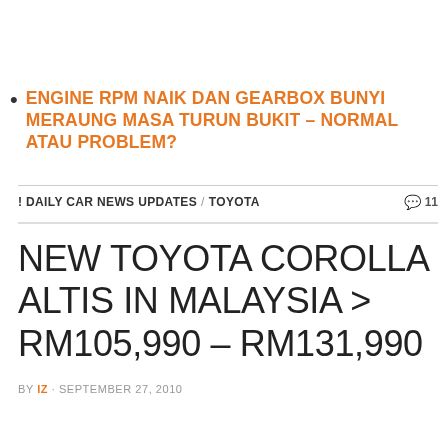ENGINE RPM NAIK DAN GEARBOX BUNYI MERAUNG MASA TURUN BUKIT – NORMAL ATAU PROBLEM?
! DAILY CAR NEWS UPDATES / TOYOTA   💬 11
NEW TOYOTA COROLLA ALTIS IN MALAYSIA > RM105,990 – RM131,990
BY IZ · SEPTEMBER 27, 2010